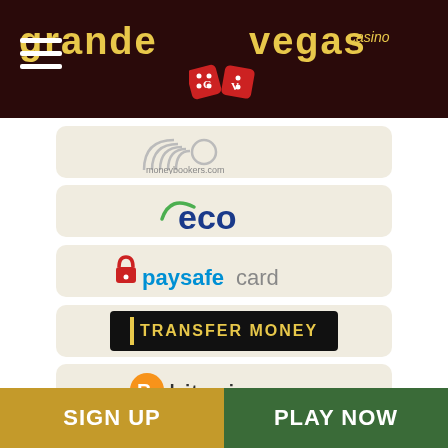[Figure (logo): Grande Vegas Casino logo on dark brown header with hamburger menu icon]
[Figure (logo): Moneybookers.com payment logo]
[Figure (logo): Eco payment method logo]
[Figure (logo): Paysafecard payment logo]
[Figure (logo): Transfer Money payment logo (black background with yellow text)]
[Figure (logo): Bitcoin payment logo]
SIGN UP
PLAY NOW